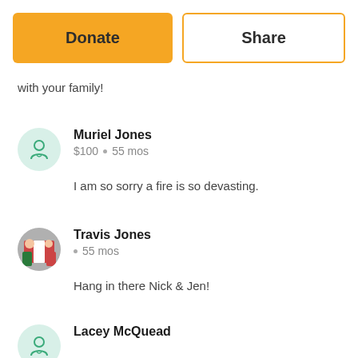with your family!
Muriel Jones
$100 • 55 mos
I am so sorry a fire is so devasting.
Travis Jones
• 55 mos
Hang in there Nick & Jen!
Lacey McQuead